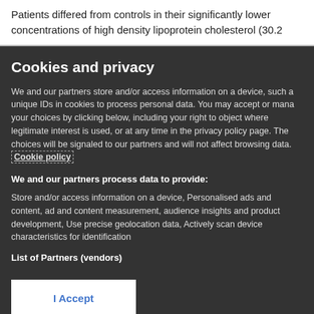Patients differed from controls in their significantly lower concentrations of high density lipoprotein cholesterol (30.2
Cookies and privacy
We and our partners store and/or access information on a device, such a unique IDs in cookies to process personal data. You may accept or mana your choices by clicking below, including your right to object where legitimate interest is used, or at any time in the privacy policy page. The choices will be signaled to our partners and will not affect browsing data. Cookie policy
We and our partners process data to provide:
Store and/or access information on a device, Personalised ads and content, ad and content measurement, audience insights and product development, Use precise geolocation data, Actively scan device characteristics for identification
List of Partners (vendors)